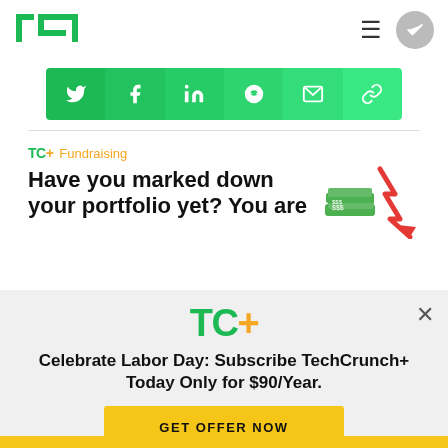TechCrunch navigation header with logo and menu
[Figure (infographic): Social share bar with Twitter, Facebook, LinkedIn, Reddit, Email, and Link icons on green gradient background]
[Figure (illustration): Article teaser: TC+ Fundraising - Have you marked down your portfolio yet? You are... with money/chart illustration]
[Figure (infographic): TC+ modal overlay: Celebrate Labor Day: Subscribe TechCrunch+ Today Only for $90/Year. GET OFFER NOW button]